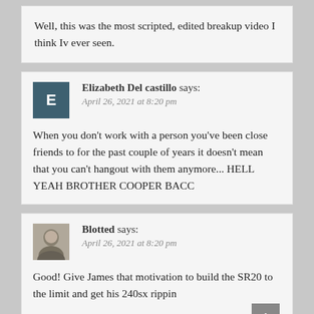Well, this was the most scripted, edited breakup video I think Iv ever seen.
Elizabeth Del castillo says:
April 26, 2021 at 8:20 pm
When you don't work with a person you've been close friends to for the past couple of years it doesn't mean that you can't hangout with them anymore... HELL YEAH BROTHER COOPER BACC
Blotted says:
April 26, 2021 at 8:20 pm
Good! Give James that motivation to build the SR20 to the limit and get his 240sx rippin